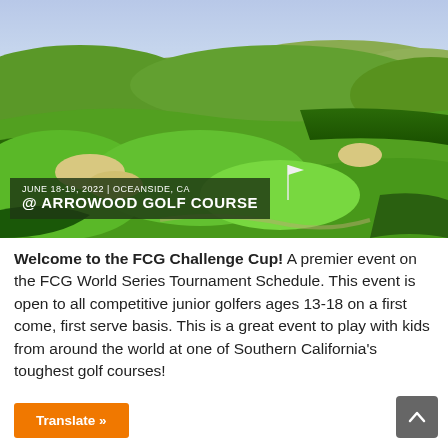[Figure (photo): Aerial view of Arrowood Golf Course in Oceanside CA, showing lush green fairways, sand bunkers, rolling hills, and a flag on the green under a blue sky. Overlay text reads: JUNE 18-19, 2022 | OCEANSIDE, CA @ ARROWOOD GOLF COURSE]
Welcome to the FCG Challenge Cup! A premier event on the FCG World Series Tournament Schedule. This event is open to all competitive junior golfers ages 13-18 on a first come, first serve basis. This is a great event to play with kids from around the world at one of Southern California's toughest golf courses!